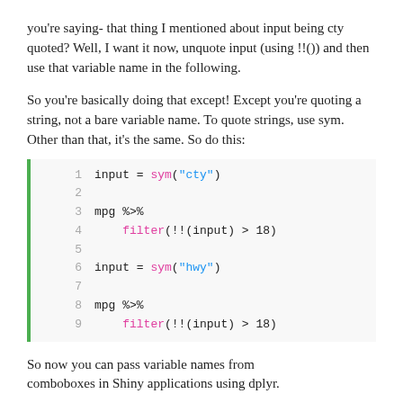you're saying- that thing I mentioned about input being cty quoted? Well, I want it now, unquote input (using !!()) and then use that variable name in the following.
So you're basically doing that except! Except you're quoting a string, not a bare variable name. To quote strings, use sym. Other than that, it's the same. So do this:
[Figure (screenshot): Code block with 9 lines showing R code using sym() and filter() with !!() operator. Line 1: input = sym("cty"), Lines 3-4: mpg %>% filter(!!(input) > 18), Line 6: input = sym("hwy"), Lines 8-9: mpg %>% filter(!!(input) > 18)]
So now you can pass variable names from comboboxes in Shiny applications using dplyr.